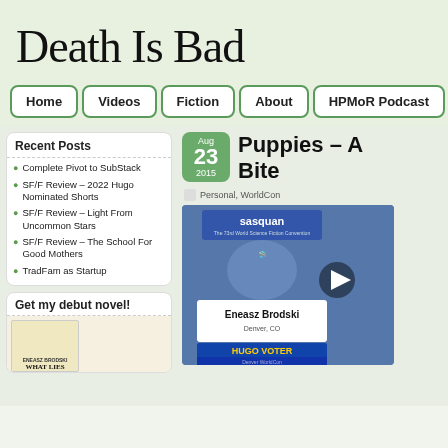Death Is Bad
Home
Videos
Fiction
About
HPMoR Podcast
Recent Posts
Complete Pivot to SubStack
SF/F Review – 2022 Hugo Nominated Shorts
SF/F Review – Light From Uncommon Stars
SF/F Review – The School For Good Mothers
TradFam as Startup
Get my debut novel!
Puppies – A Bite
Aug 23 2015
Personal, WorldCon
[Figure (photo): Sasquan WorldCon badge for Eneasz Brodski, Denver CO, with Hugo Voter ribbon and play button overlay; convention imagery in blue/purple tones.]